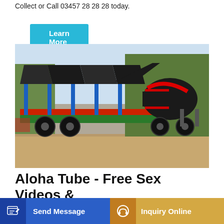Collect or Call 03457 28 28 28 today.
Learn More
[Figure (photo): Large mobile concrete batching plant / mixer machine on wheels, with black frame, blue structural supports, red and green accents, and a large black and red drum mixer on the right. Parked on a dirt area with trees in the background.]
Aloha Tube - Free Sex Videos & Streaming Porn Movies
Send Message
Inquiry Online
pdated e
3 million of the best porn tube movies for FREE! Don't forget